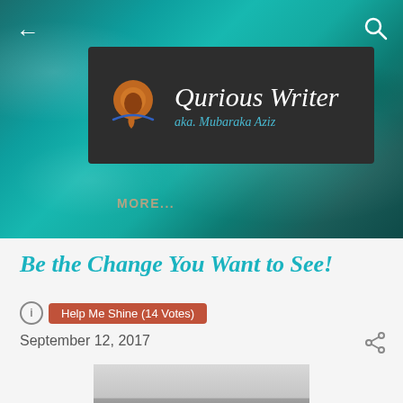[Figure (screenshot): Blog header with teal ocean water background, dark banner with Qurious Writer logo (orange Q icon) and text 'Qurious Writer aka. Mubaraka Aziz', navigation arrows and search icon, MORE... link]
Be the Change You Want to See!
Help Me Shine (14 Votes)
September 12, 2017
[Figure (photo): Black and white photo of a lone person standing at the edge of water, horizon visible, moody landscape]